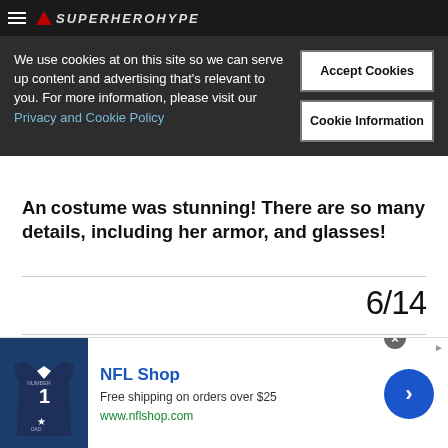SuperHeroHype
We use cookies at on this site so we can serve up content and advertising that's relevant to you. For more information, please visit our Privacy and Cookie Policy
An her costume was stunning! There are so many details, including her armor, and glasses!
6/14
[Figure (photo): Dark photo showing a figure, low lighting with bokeh lights in background and person with pink/purple hair visible at bottom]
[Figure (other): NFL Shop advertisement. Shows NFL jersey image, text 'NFL Shop', 'Free shipping on orders over $25', 'www.nflshop.com', close button and navigation arrow]